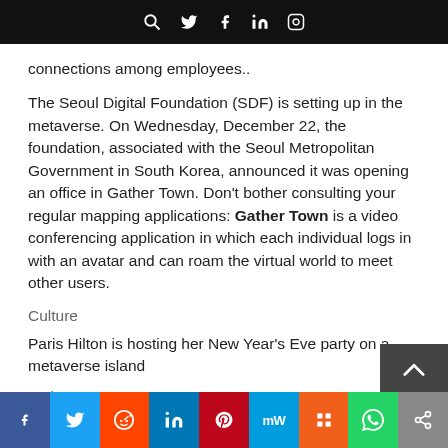[navigation bar with search, twitter, facebook, linkedin, instagram icons]
connections among employees..
The Seoul Digital Foundation (SDF) is setting up in the metaverse. On Wednesday, December 22, the foundation, associated with the Seoul Metropolitan Government in South Korea, announced it was opening an office in Gather Town. Don’t bother consulting your regular mapping applications: Gather Town is a video conferencing application in which each individual logs in with an avatar and can roam the virtual world to meet other users.
Culture
Paris Hilton is hosting her New Year’s Eve party on a metaverse island
Style
Share bar: Facebook, Twitter, Reddit, LinkedIn, Pinterest, MW, Mix, WhatsApp, Share